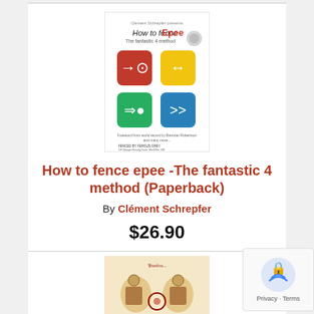[Figure (illustration): Book cover: 'How to fence Epee - The fantastic 4 method' with four colored rounded rectangles containing arrow symbols on white background]
How to fence epee -The fantastic 4 method (Paperback)
By Clément Schrepfer
$26.90
Add to Cart
Add to Wish List
Usually Ships in 1-5 Days
(This item is non-returnable and must be pre-paid.)
[Figure (illustration): Partial view of a second book cover showing a medieval-style illustration]